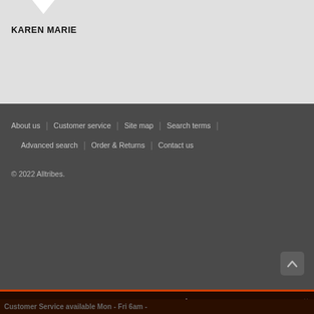KAREN MARIE
About us | Customer service | Site map | Search terms | Advanced search | Order & Returns | Contact us
© 2022 Alltribes.
SHOW SIDEBAR +
Customer Service available Mon - Fri 6am -